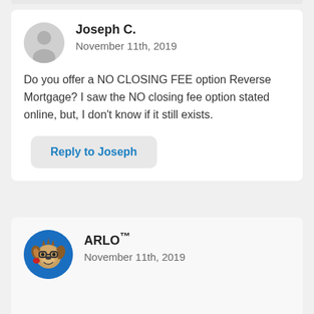Joseph C.
November 11th, 2019
Do you offer a NO CLOSING FEE option Reverse Mortgage? I saw the NO closing fee option stated online, but, I don't know if it still exists.
Reply to Joseph
[Figure (illustration): ARLO mascot avatar - cartoon dog with glasses on blue circle background]
ARLO™
November 11th, 2019